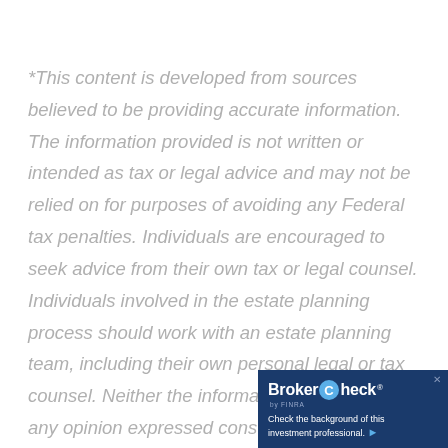*This content is developed from sources believed to be providing accurate information. The information provided is not written or intended as tax or legal advice and may not be relied on for purposes of avoiding any Federal tax penalties. Individuals are encouraged to seek advice from their own tax or legal counsel. Individuals involved in the estate planning process should work with an estate planning team, including their own personal legal or tax counsel. Neither the information presented nor any opinion expressed constitutes a representation by us of a specific investment or the purchase or sale of any securities. Asset allocation and diversification do not ensure a profit or protect against loss in declining markets. This m...
[Figure (logo): BrokerCheck by FINRA badge with text: Check the background of this investment professional.]